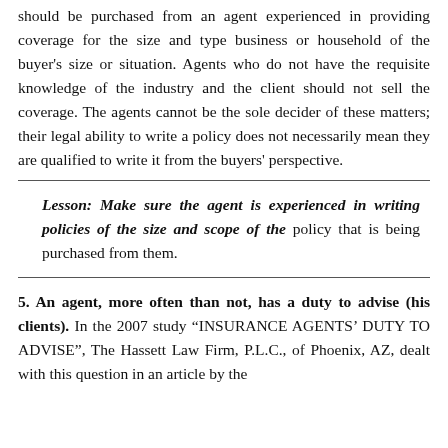should be purchased from an agent experienced in providing coverage for the size and type business or household of the buyer's size or situation. Agents who do not have the requisite knowledge of the industry and the client should not sell the coverage. The agents cannot be the sole decider of these matters; their legal ability to write a policy does not necessarily mean they are qualified to write it from the buyers' perspective.
Lesson: Make sure the agent is experienced in writing policies of the size and scope of the policy that is being purchased from them.
5. An agent, more often than not, has a duty to advise (his clients). In the 2007 study "INSURANCE AGENTS' DUTY TO ADVISE", The Hassett Law Firm, P.L.C., of Phoenix, AZ, dealt with this question in an article by the